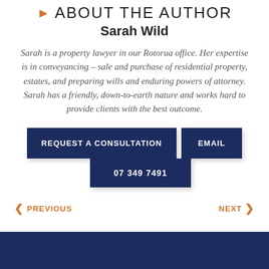ABOUT THE AUTHOR
Sarah Wild
Sarah is a property lawyer in our Rotorua office. Her expertise is in conveyancing – sale and purchase of residential property, estates, and preparing wills and enduring powers of attorney. Sarah has a friendly, down-to-earth nature and works hard to provide clients with the best outcome.
REQUEST A CONSULTATION
EMAIL
07 349 7491
PREVIOUS
NEXT